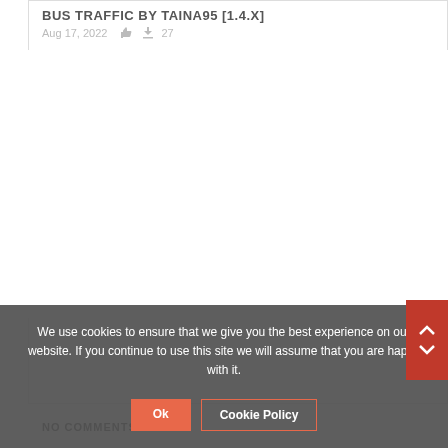BUS TRAFFIC BY TAINA95 [1.4.x]
Aug 17, 2022  27
We use cookies to ensure that we give you the best experience on our website. If you continue to use this site we will assume that you are happy with it.
Ok
Cookie Policy
NO COMMENTS